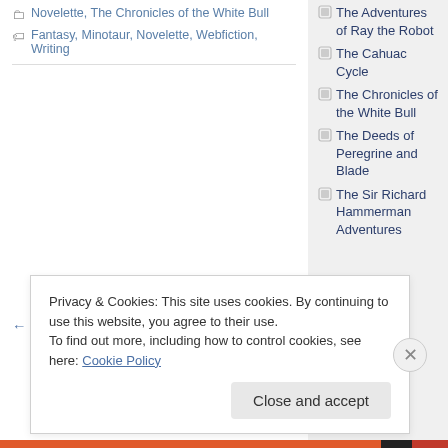Novelette, The Chronicles of the White Bull
Fantasy, Minotaur, Novelette, Webfiction, Writing
← Older posts
The Adventures of Ray the Robot
The Cahuac Cycle
The Chronicles of the White Bull
The Deeds of Peregrine and Blade
The Sir Richard Hammerman Adventures
Privacy & Cookies: This site uses cookies. By continuing to use this website, you agree to their use.
To find out more, including how to control cookies, see here: Cookie Policy
Close and accept